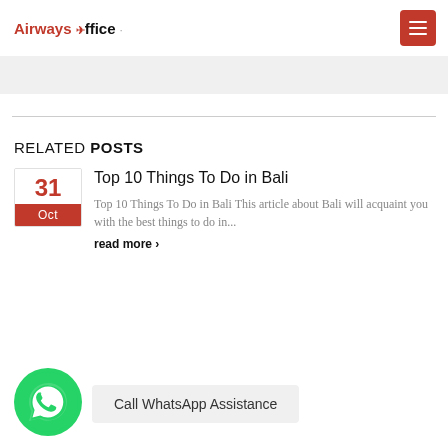Airways Office
[Figure (other): Gray banner bar placeholder]
RELATED POSTS
Top 10 Things To Do in Bali
Top 10 Things To Do in Bali This article about Bali will acquaint you with the best things to do in...
read more ›
[Figure (illustration): WhatsApp green circle icon with phone handset symbol]
Call WhatsApp Assistance